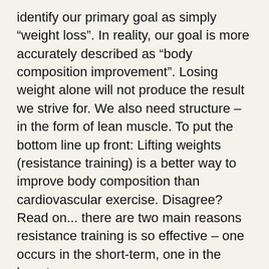identify our primary goal as simply “weight loss”. In reality, our goal is more accurately described as “body composition improvement”. Losing weight alone will not produce the result we strive for. We also need structure – in the form of lean muscle. To put the bottom line up front: Lifting weights (resistance training) is a better way to improve body composition than cardiovascular exercise. Disagree? Read on... there are two main reasons resistance training is so effective – one occurs in the short-term, one in the long-term.
The short-term can seem a little tricky, and is often misinterpreted. While you are actively exercising, cardiovascular exercise burns more calories than resistance training of the same relative intensity. This fact alone